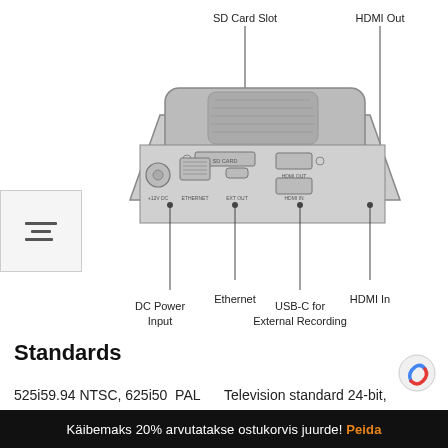[Figure (engineering-diagram): Back panel diagram of a device showing labeled ports: SD Card Slot (top left), HDMI Out (top right), DC Power Input (bottom left), Ethernet (bottom center-left), USB-C for External Recording (bottom center-right), HDMI In (bottom right). The device body is shown in isometric view with ports visible on the rear face.]
Standards
525i59.94 NTSC, 625i50 PAL    Television standard 24-bit, 48 kHz sample rate.
Käibemaks 20% arvutatakse ostukorvis juurde! Peida